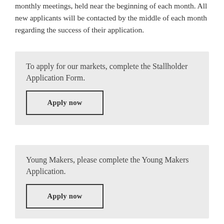monthly meetings, held near the beginning of each month. All new applicants will be contacted by the middle of each month regarding the success of their application.
To apply for our markets, complete the Stallholder Application Form.
Apply now
Young Makers, please complete the Young Makers Application.
Apply now